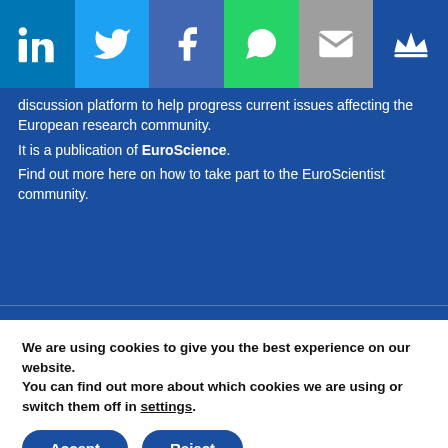[Figure (infographic): Social media sharing icons bar: LinkedIn (blue), Twitter (light blue), Facebook (dark blue), WhatsApp (green), Email (grey), Crown/premium (dark blue)]
discussion platform to help progress current issues affecting the European research community.
It is a publication of EuroScience.
Find out more here on how to take part to the EuroScientist community.
Write Opinion Pieces
Sponsored posts on EuroScientist
Support our organisation
Donate
We are using cookies to give you the best experience on our website.
You can find out more about which cookies we are using or switch them off in settings.
Accept
Reject